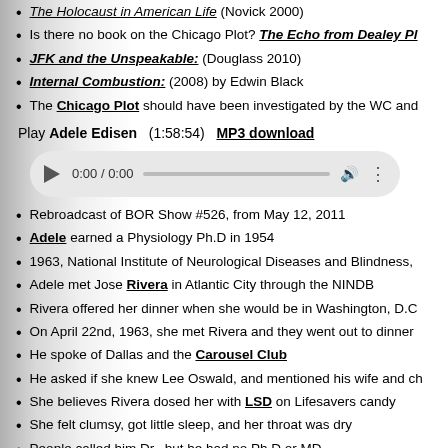The Holocaust in American Life (Novick 2000)
Is there no book on the Chicago Plot? The Echo from Dealey Pl…
JFK and the Unspeakable: (Douglass 2010)
Internal Combustion: (2008) by Edwin Black
The Chicago Plot should have been investigated by the WC and…
Play Adele Edisen  (1:58:54)  MP3 download
[Figure (other): HTML5 audio player widget showing 0:00 / 0:00 with play button, progress bar, volume and more controls]
Rebroadcast of BOR Show #526, from May 12, 2011
Adele earned a Physiology Ph.D in 1954
1963, National Institute of Neurological Diseases and Blindness,…
Adele met Jose Rivera in Atlantic City through the NINDB
Rivera offered her dinner when she would be in Washington, D.C…
On April 22nd, 1963, she met Rivera and they went out to dinner…
He spoke of Dallas and the Carousel Club
He asked if she knew Lee Oswald, and mentioned his wife and ch…
She believes Rivera dosed her with LSD on Lifesavers candy
She felt clumsy, got little sleep, and her throat was dry
People called him Dr., but he had no Ph.D or MD
He had a Hispanic accent, two birthplaces, and was born in 1905…
She seemed to follow a post-hypnotic suggestion to call Rivera
They had dinner a second time, and things got really strange
Another Lifesaver caused her to have a euphoric reaction
"I wonder what Jackie will do when her husband dies?"
"Do you see Caroline on her pony Macaroni?"
"Write down this name: Lee Harvey Oswald"
"Tell him to kill the chief"
"…"